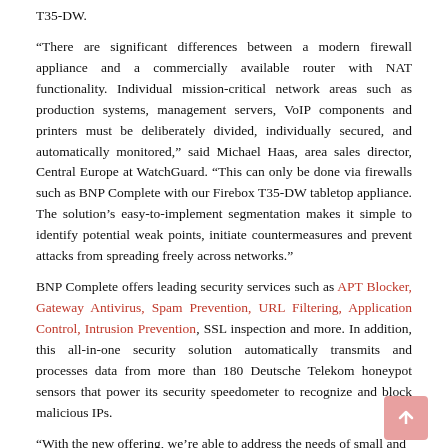T35-DW.
“There are significant differences between a modern firewall appliance and a commercially available router with NAT functionality. Individual mission-critical network areas such as production systems, management servers, VoIP components and printers must be deliberately divided, individually secured, and automatically monitored,” said Michael Haas, area sales director, Central Europe at WatchGuard. “This can only be done via firewalls such as BNP Complete with our Firebox T35-DW tabletop appliance. The solution’s easy-to-implement segmentation makes it simple to identify potential weak points, initiate countermeasures and prevent attacks from spreading freely across networks.”
BNP Complete offers leading security services such as APT Blocker, Gateway Antivirus, Spam Prevention, URL Filtering, Application Control, Intrusion Prevention, SSL inspection and more. In addition, this all-in-one security solution automatically transmits and processes data from more than 180 Deutsche Telekom honeypot sensors that power its security speedometer to recognize and block malicious IPs.
“With the new offering, we’re able to address the needs of small and